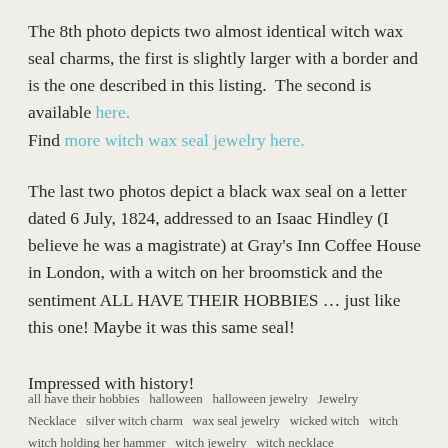The 8th photo depicts two almost identical witch wax seal charms, the first is slightly larger with a border and is the one described in this listing.  The second is available here. Find more witch wax seal jewelry here.
The last two photos depict a black wax seal on a letter dated 6 July, 1824, addressed to an Isaac Hindley (I believe he was a magistrate) at Gray's Inn Coffee House in London, with a witch on her broomstick and the sentiment ALL HAVE THEIR HOBBIES … just like this one! Maybe it was this same seal!
Impressed with history!
all have their hobbies   halloween   halloween jewelry   Jewelry   Necklace   silver witch charm   wax seal jewelry   wicked witch   witch   witch holding her hammer   witch jewelry   witch necklace   witch on a broomstick   witch pendant   witch wax seal charm